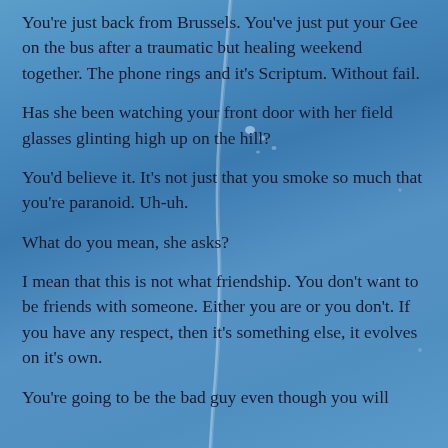You're just back from Brussels. You've just put your Gee on the bus after a traumatic but healing weekend together. The phone rings and it's Scriptum. Without fail.
Has she been watching your front door with her field glasses glinting high up on the hill?
You'd believe it. It's not just that you smoke so much that you're paranoid. Uh-uh.
What do you mean, she asks?
I mean that this is not what friendship. You don't want to be friends with someone. Either you are or you don't. If you have any respect, then it's something else, it evolves on it's own.
You're going to be the bad guy even though you will